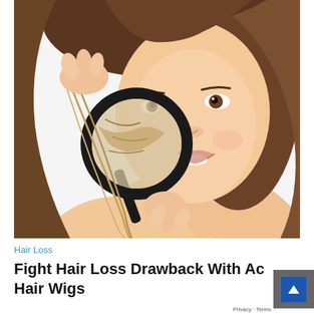[Figure (photo): A young brunette woman holding a strand of her long hair and examining it through a magnifying glass, with a concerned/curious expression. White background studio photo.]
Hair Loss
Fight Hair Loss Drawback With Ac Hair Wigs